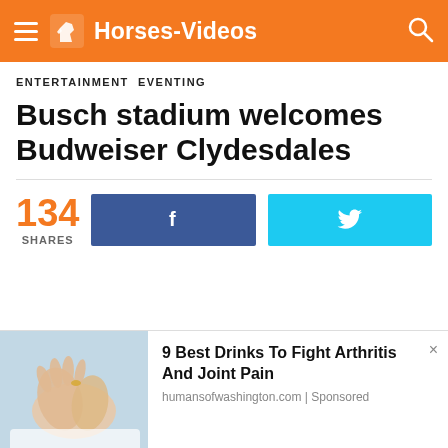Horses-Videos
ENTERTAINMENT EVENTING
Busch stadium welcomes Budweiser Clydesdales
134 SHARES
[Figure (screenshot): Advertisement: 9 Best Drinks To Fight Arthritis And Joint Pain — humansofwashington.com | Sponsored]